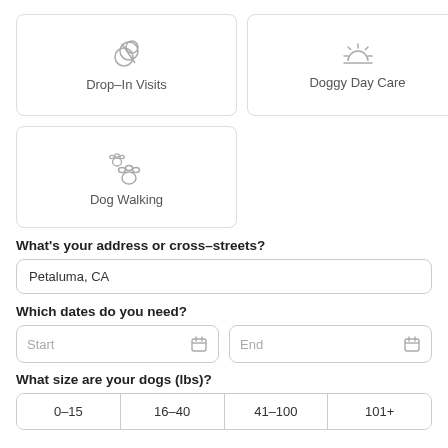[Figure (illustration): Drop-In Visits service card with icon of a house/pet related symbol]
[Figure (illustration): Doggy Day Care service card with sun/daytime icon]
[Figure (illustration): Dog Walking service card with paw prints icon]
What's your address or cross-streets?
Petaluma, CA
Which dates do you need?
Start
End
What size are your dogs (lbs)?
0–15	16–40	41–100	101+